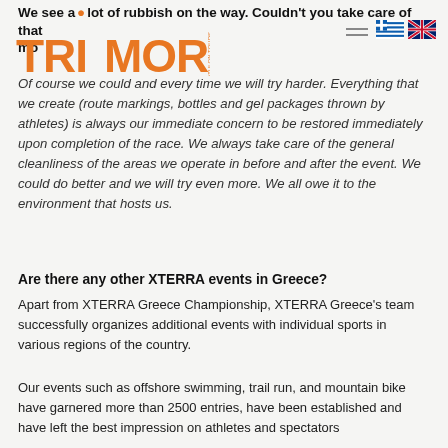We see a lot of rubbish on the way. Couldn't you take care of that more... [TRIMORE logo header]
Of course we could and every time we will try harder. Everything that we create (route markings, bottles and gel packages thrown by athletes) is always our immediate concern to be restored immediately upon completion of the race. We always take care of the general cleanliness of the areas we operate in before and after the event. We could do better and we will try even more. We all owe it to the environment that hosts us.
Are there any other XTERRA events in Greece?
Apart from XTERRA Greece Championship, XTERRA Greece's team successfully organizes additional events with individual sports in various regions of the country.
Our events such as offshore swimming, trail run, and mountain bike have garnered more than 2500 entries, have been established and have left the best impression on athletes and spectators